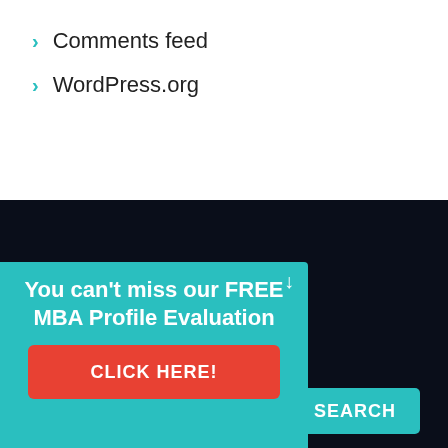Comments feed
WordPress.org
about GyanOne™
of top MBA s such as MIT, n Business School. s has the ore than 500 M, and MS
You can't miss our FREE MBA Profile Evaluation
CLICK HERE!
SEARCH